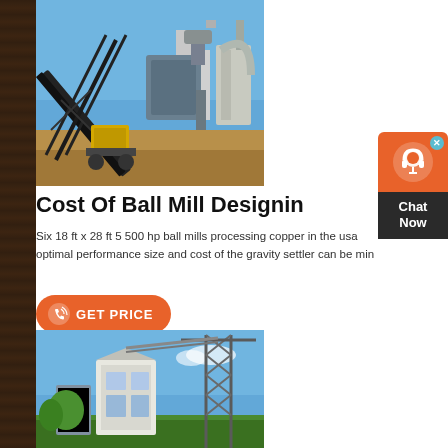[Figure (photo): Industrial ball mill / conveyor equipment on a construction/mining site with blue sky background]
Cost Of Ball Mill Designin
Six 18 ft x 28 ft 5 500 hp ball mills processing copper in the usa  optimal performance size and cost of the gravity settler can be min
[Figure (other): Chat Now widget with phone/headset icon, orange and dark background]
[Figure (photo): Industrial crusher or mill equipment with lattice steel structure and blue sky background]